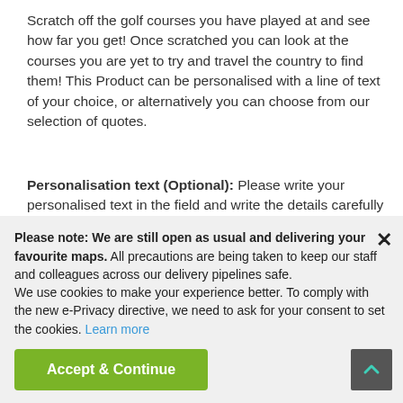Scratch off the golf courses you have played at and see how far you get! Once scratched you can look at the courses you are yet to try and travel the country to find them! This Product can be personalised with a line of text of your choice, or alternatively you can choose from our selection of quotes.
Personalisation text (Optional): Please write your personalised text in the field and write the details carefully as it will be copied exactly as it is written. Here are some of our popular suggestions:
- Where I've teed off
- The Golf Course Challenge
Please note: We are still open as usual and delivering your favourite maps. All precautions are being taken to keep our staff and colleagues across our delivery pipelines safe.
We use cookies to make your experience better. To comply with the new e-Privacy directive, we need to ask for your consent to set the cookies. Learn more